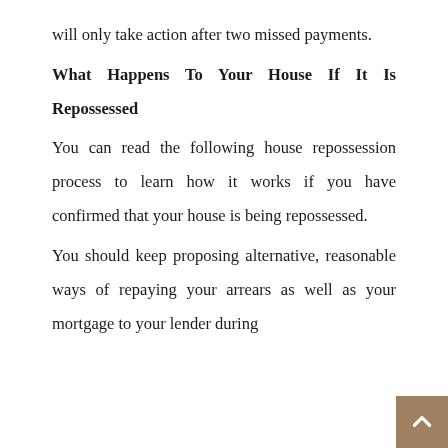will only take action after two missed payments.
What Happens To Your House If It Is Repossessed
You can read the following house repossession process to learn how it works if you have confirmed that your house is being repossessed.
You should keep proposing alternative, reasonable ways of repaying your arrears as well as your mortgage to your lender during